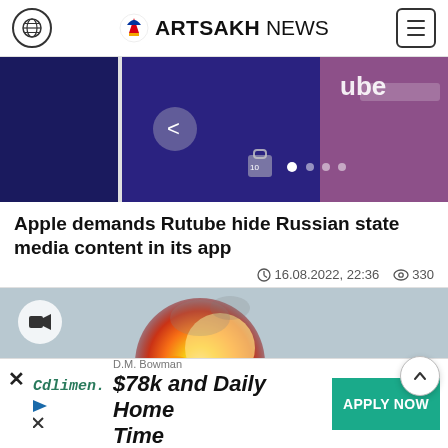ARTSAKH NEWS
[Figure (screenshot): Partial screenshot of a phone showing the Rutube app interface with blue/purple background and the text 'ube' visible]
Apple demands Rutube hide Russian state media content in its app
16.08.2022, 22:36   330
[Figure (photo): Video thumbnail showing a fireball explosion against a grey sky with a video camera badge icon overlay]
D.M. Bowman  $78k and Daily Home Time  APPLY NOW